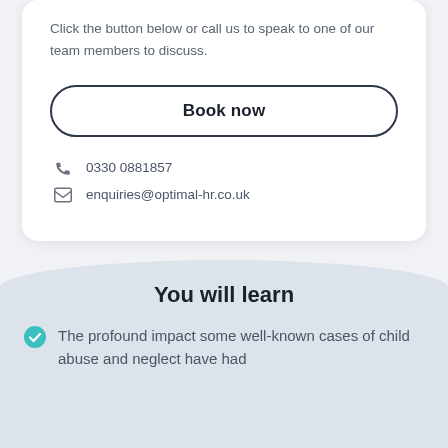Click the button below or call us to speak to one of our team members to discuss.
Book now
0330 0881857
enquiries@optimal-hr.co.uk
You will learn
The profound impact some well-known cases of child abuse and neglect have had on legislation.